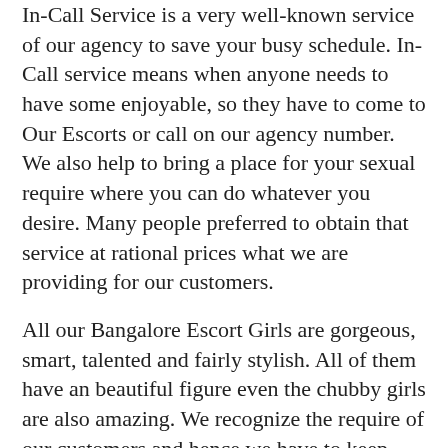In-Call Service is a very well-known service of our agency to save your busy schedule. In-Call service means when anyone needs to have some enjoyable, so they have to come to Our Escorts or call on our agency number. We also help to bring a place for your sexual require where you can do whatever you desire. Many people preferred to obtain that service at rational prices what we are providing for our customers.
All our Bangalore Escort Girls are gorgeous, smart, talented and fairly stylish. All of them have an beautiful figure even the chubby girls are also amazing. We recognize the require of our customers and hence we have to keep only High-Profile Call Girls Bangalore available 24×7 hours. We assured you that you will obtain 100% pleasure guaranteed. Call @7795393863 and appoint the model Bangalore Escorts now.
Bangalore Escorts offers top and comfort escort services as we recognize that people in Bangalore are always curious...